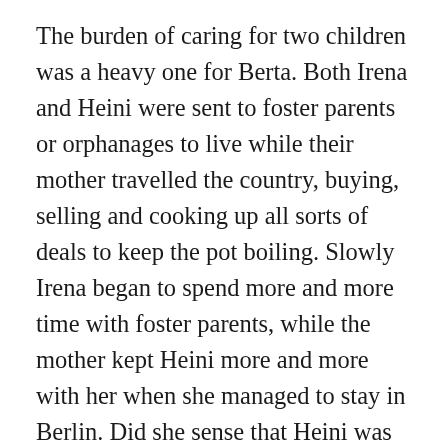The burden of caring for two children was a heavy one for Berta. Both Irena and Heini were sent to foster parents or orphanages to live while their mother travelled the country, buying, selling and cooking up all sorts of deals to keep the pot boiling. Slowly Irena began to spend more and more time with foster parents, while the mother kept Heini more and more with her when she managed to stay in Berlin. Did she sense that Heini was the weaker and Irena was the stronger? Did she feel that it was impossible to keep the two, or that she was only capable of looking after the one? Who can tell? Who can make a valid judgment at this distance when things were so bad in Germany for Jewish people; when Berta had to make her